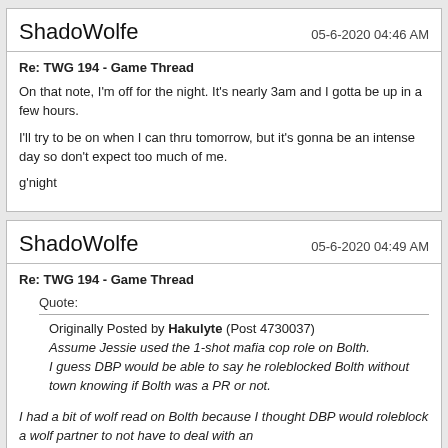ShadoWolfe
05-6-2020 04:46 AM
Re: TWG 194 - Game Thread
On that note, I'm off for the night. It's nearly 3am and I gotta be up in a few hours.
I'll try to be on when I can thru tomorrow, but it's gonna be an intense day so don't expect too much of me.
g'night
ShadoWolfe
05-6-2020 04:49 AM
Re: TWG 194 - Game Thread
Quote:
Originally Posted by Hakulyte (Post 4730037)
Assume Jessie used the 1-shot mafia cop role on Bolth.
I guess DBP would be able to say he roleblocked Bolth without town knowing if Bolth was a PR or not.
I had a bit of wolf read on Bolth because I thought DBP would roleblock a wolf partner to not have to deal with an